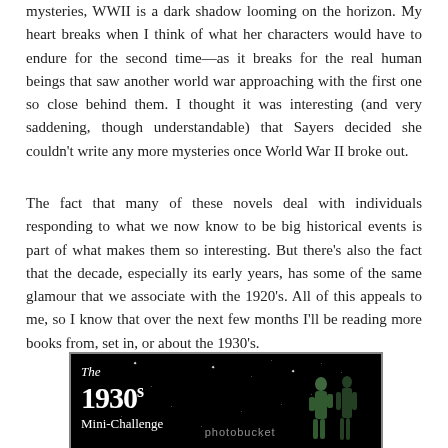mysteries, WWII is a dark shadow looming on the horizon. My heart breaks when I think of what her characters would have to endure for the second time—as it breaks for the real human beings that saw another world war approaching with the first one so close behind them. I thought it was interesting (and very saddening, though understandable) that Sayers decided she couldn't write any more mysteries once World War II broke out.
The fact that many of these novels deal with individuals responding to what we now know to be big historical events is part of what makes them so interesting. But there's also the fact that the decade, especially its early years, has some of the same glamour that we associate with the 1920's. All of this appeals to me, so I know that over the next few months I'll be reading more books from, set in, or about the 1930's.
[Figure (illustration): A decorative banner image on a black background with white stars. Text reads 'The 1930s Mini-Challenge' in stylized white lettering. Two Art Deco style silhouette figures of people are visible on the right side. A photobucket watermark is present.]